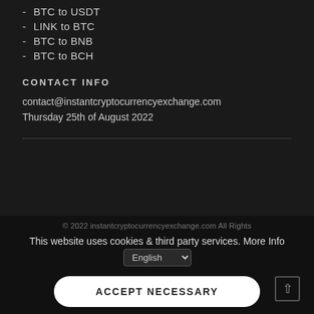- BTC to USDT
- LINK to BTC
- BTC to BNB
- BTC to BCH
CONTACT INFO
contact@instantcryptocurrencyexchange.com
Thursday 25th of August 2022
© 2022 instantcryptocurrencyexchange.com All Rights This website uses cookies & third party services. More Info English ACCEPT NECESSARY